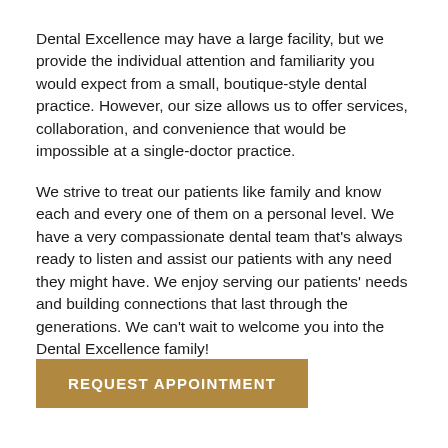Dental Excellence may have a large facility, but we provide the individual attention and familiarity you would expect from a small, boutique-style dental practice. However, our size allows us to offer services, collaboration, and convenience that would be impossible at a single-doctor practice.
We strive to treat our patients like family and know each and every one of them on a personal level. We have a very compassionate dental team that's always ready to listen and assist our patients with any need they might have. We enjoy serving our patients' needs and building connections that last through the generations. We can't wait to welcome you into the Dental Excellence family!
REQUEST APPOINTMENT